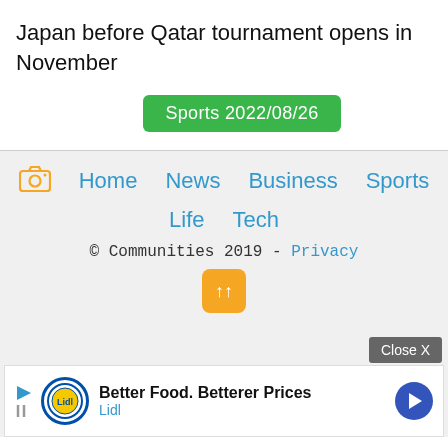Japan before Qatar tournament opens in November
Sports 2022/08/26
Home  News  Business  Sports  Life  Tech  © Communities 2019 - Privacy
[Figure (screenshot): Lidl advertisement banner: Better Food. Betterer Prices - Lidl]
Close X